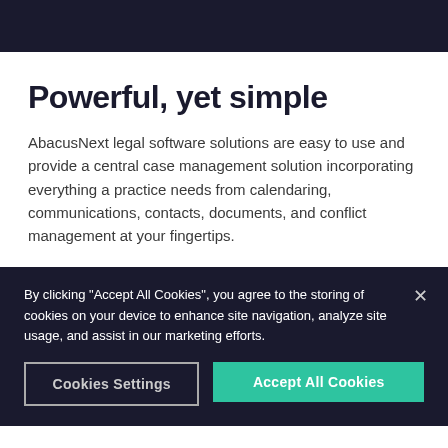Powerful, yet simple
AbacusNext legal software solutions are easy to use and provide a central case management solution incorporating everything a practice needs from calendaring, communications, contacts, documents, and conflict management at your fingertips.
By clicking "Accept All Cookies", you agree to the storing of cookies on your device to enhance site navigation, analyze site usage, and assist in our marketing efforts.
Cookies Settings
Accept All Cookies